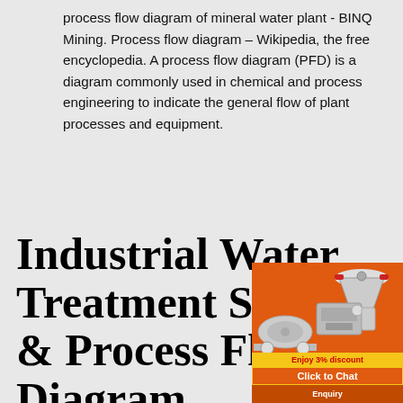process flow diagram of mineral water plant - BINQ Mining. Process flow diagram – Wikipedia, the free encyclopedia. A process flow diagram (PFD) is a diagram commonly used in chemical and process engineering to indicate the general flow of plant processes and equipment.
Industrial Water Treatment System & Process Flow Diagram
[Figure (illustration): Advertisement panel with orange background showing industrial mining equipment machines (crusher, mill, cone crusher) and promotional buttons: 'Enjoy 3% discount', 'Click to Chat', 'Enquiry', 'limingjlmofen@sina.com']
Nov 05, 2016 · Industrial Water Treatment Systems & Process Flow Diagram. These are existing Industrial Water Treatment Systems, they can be sized gpm to 250 gpm. With arsenic and uranium, contamination concentrations are important. A… As I can run a system at 40 gpm, however at 120 ppb As I need to reduce it down to 10 gpm with the same